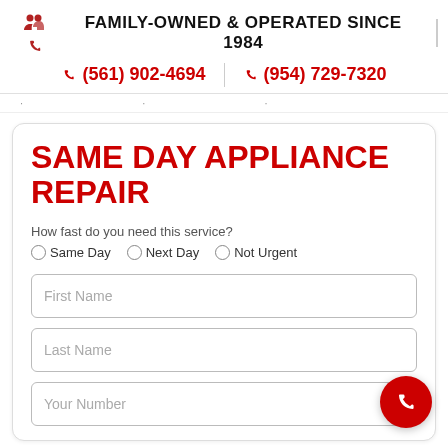FAMILY-OWNED & OPERATED SINCE 1984 | (561) 902-4694 | (954) 729-7320
SAME DAY APPLIANCE REPAIR
How fast do you need this service?
Same Day   Next Day   Not Urgent
First Name
Last Name
Your Number